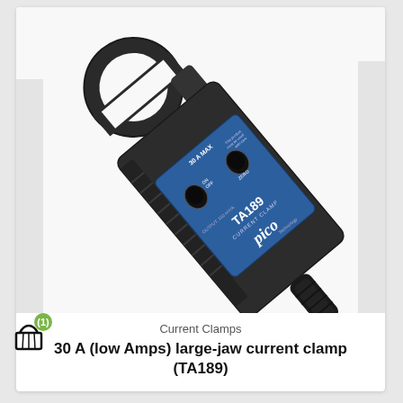[Figure (photo): Pico TA189 current clamp — a black large-jaw clamp meter with a blue label panel showing 'TA189 CURRENT CLAMP' and 'pico Technology' branding, ON/OFF and ZERO buttons, diagonal view on white background]
Current Clamps
30 A (low Amps) large-jaw current clamp (TA189)